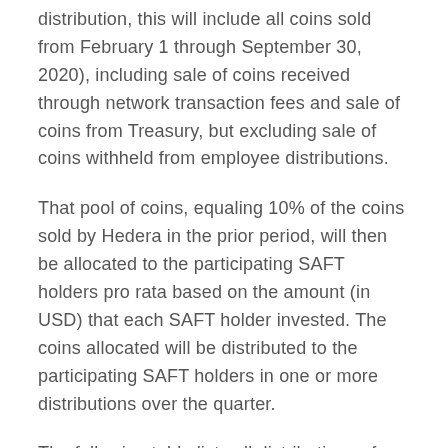distribution, this will include all coins sold from February 1 through September 30, 2020), including sale of coins received through network transaction fees and sale of coins from Treasury, but excluding sale of coins withheld from employee distributions.
That pool of coins, equaling 10% of the coins sold by Hedera in the prior period, will then be allocated to the participating SAFT holders pro rata based on the amount (in USD) that each SAFT holder invested. The coins allocated will be distributed to the participating SAFT holders in one or more distributions over the quarter.
The following table lists all distributions of bonus allocations made during their respective period and the percentage of total remitted in aggregate across every SAFT holder who accepted the